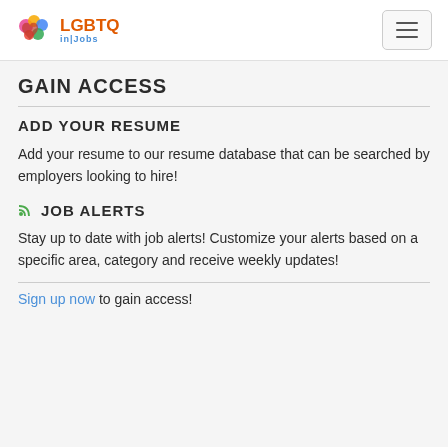LGBTQ in|Jobs
GAIN ACCESS
ADD YOUR RESUME
Add your resume to our resume database that can be searched by employers looking to hire!
JOB ALERTS
Stay up to date with job alerts! Customize your alerts based on a specific area, category and receive weekly updates!
Sign up now to gain access!